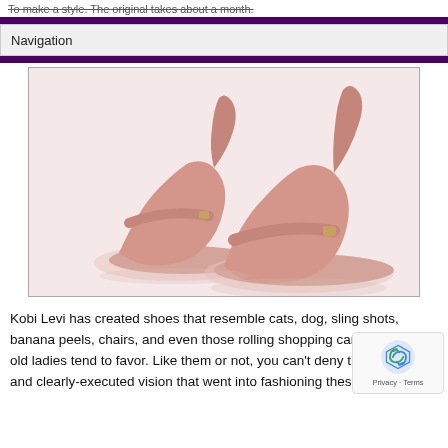To make a style. The original takes about a month.
Navigation
[Figure (photo): Two pink leather high-heel shoes with straps and unique curved heel design, displayed on a white background.]
Kobi Levi has created shoes that resemble cats, dog, sling shots, banana peels, chairs, and even those rolling shopping carts that little old ladies tend to favor. Like them or not, you can't deny the creativity and clearly-executed vision that went into fashioning these shoes.